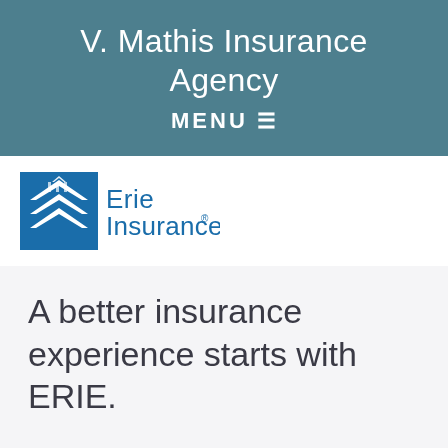V. Mathis Insurance Agency
MENU ≡
[Figure (logo): Erie Insurance logo — blue stylized house/chevron icon with 'Erie Insurance' text in blue]
A better insurance experience starts with ERIE.